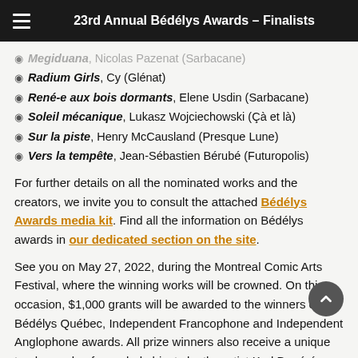23rd Annual Bédélys Awards – Finalists
Megiduana, Nicolas Pazenat (Sarbacane)
Radium Girls, Cy (Glénat)
René-e aux bois dormants, Elene Usdin (Sarbacane)
Soleil mécanique, Lukasz Wojciechowski (Çà et là)
Sur la piste, Henry McCausland (Presque Lune)
Vers la tempête, Jean-Sébastien Bérubé (Futuropolis)
For further details on all the nominated works and the creators, we invite you to consult the attached Bédélys Awards media kit. Find all the information on Bédélys awards in our dedicated section on the site.
See you on May 27, 2022, during the Montreal Comic Arts Festival, where the winning works will be crowned. On this occasion, $1,000 grants will be awarded to the winners of the Bédélys Québec, Independent Francophone and Independent Anglophone awards. All prize winners also receive a unique trophy made of recycled objects by the artist Karl Dupéré Richer, who has been creating our trophies for 13 years now.